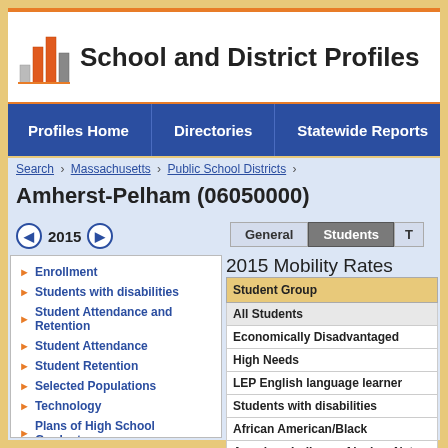School and District Profiles
Profiles Home   Directories   Statewide Reports   Sta
Search > Massachusetts > Public School Districts >
Amherst-Pelham (06050000)
2015
General   Students   T
Enrollment
Students with disabilities
Student Attendance and Retention
Student Attendance
Student Retention
Selected Populations
Technology
Plans of High School Graduates
Dropout Rate
Graduation Rate
Mobility Rate
MassCore Completion
Attrition Rates
2015 Mobility Rates
| Student Group |
| --- |
| All Students |
| Economically Disadvantaged |
| High Needs |
| LEP English language learner |
| Students with disabilities |
| African American/Black |
| American Indian or Alaskan Nat |
| Asian |